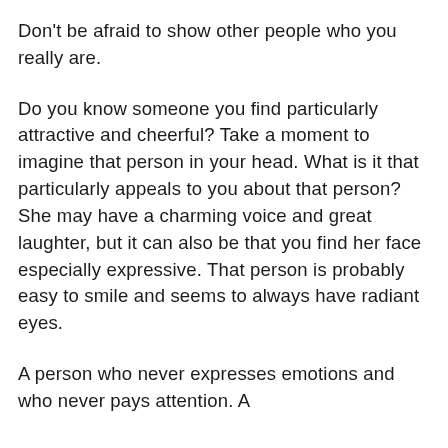Don't be afraid to show other people who you really are.
Do you know someone you find particularly attractive and cheerful? Take a moment to imagine that person in your head. What is it that particularly appeals to you about that person? She may have a charming voice and great laughter, but it can also be that you find her face especially expressive. That person is probably easy to smile and seems to always have radiant eyes.
A person who never expresses emotions and who never pays attention. A...